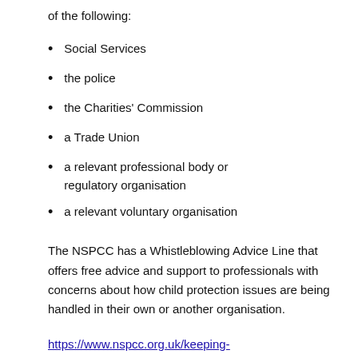of the following:
Social Services
the police
the Charities' Commission
a Trade Union
a relevant professional body or regulatory organisation
a relevant voluntary organisation
The NSPCC has a Whistleblowing Advice Line that offers free advice and support to professionals with concerns about how child protection issues are being handled in their own or another organisation.
https://www.nspcc.org.uk/keeping-